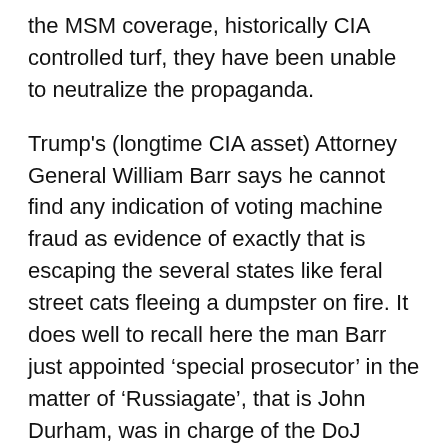the MSM coverage, historically CIA controlled turf, they have been unable to neutralize the propaganda.
Trump's (longtime CIA asset) Attorney General William Barr says he cannot find any indication of voting machine fraud as evidence of exactly that is escaping the several states like feral street cats fleeing a dumpster on fire. It does well to recall here the man Barr just appointed ‘special prosecutor’ in the matter of ‘Russiagate’, that is John Durham, was in charge of the DoJ ‘investigation’ that ran cover for CIA Director Gina Haspel over a decade ago, when he (Durham) found Haspel not culpable for torture at a black site (a site Haspel was in charge of.) Trump Attorney General Barr’s subsequent (present) assertion he has seen no evidence of vote rigging, at first blush, is inconsistent with Trump lawyer Rudy Giuliani claiming vote fraud until you look at the suggestion Giuliani is